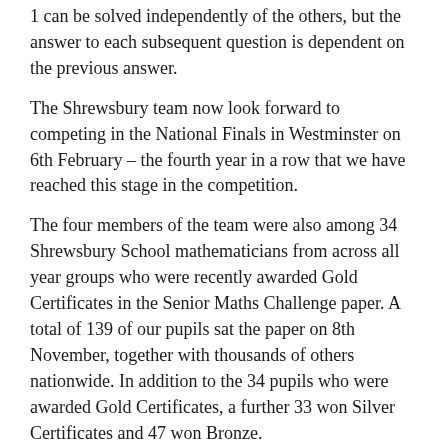1 can be solved independently of the others, but the answer to each subsequent question is dependent on the previous answer.
The Shrewsbury team now look forward to competing in the National Finals in Westminster on 6th February – the fourth year in a row that we have reached this stage in the competition.
The four members of the team were also among 34 Shrewsbury School mathematicians from across all year groups who were recently awarded Gold Certificates in the Senior Maths Challenge paper. A total of 139 of our pupils sat the paper on 8th November, together with thousands of others nationwide. In addition to the 34 pupils who were awarded Gold Certificates, a further 33 won Silver Certificates and 47 won Bronze.
Isaac Dai scored an outstanding full marks (the second consecutive year he has achieved this) and Ben Yang (Rt LIV) scored a very impressive 120/125.